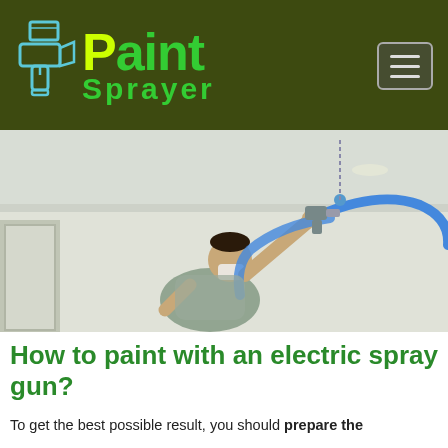Paint Sprayer
[Figure (photo): A person wearing a protective mask using a paint sprayer gun with a blue hose, painting a ceiling in a room.]
How to paint with an electric spray gun?
To get the best possible result, you should prepare the